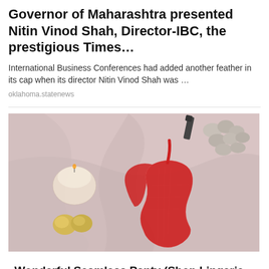Governor of Maharashtra presented Nitin Vinod Shah, Director-IBC, the prestigious Times…
International Business Conferences had added another feather in its cap when its director Nitin Vinod Shah was …
oklahoma.statenews
[Figure (photo): A flatlay photo on a pink/mauve fabric background featuring a red lace thong underwear, a glass candle, yellow decorative balls, a lipstick, and stone/pebble decorations]
Wonderful Seamless Panty (Shop Lingerie Panty)